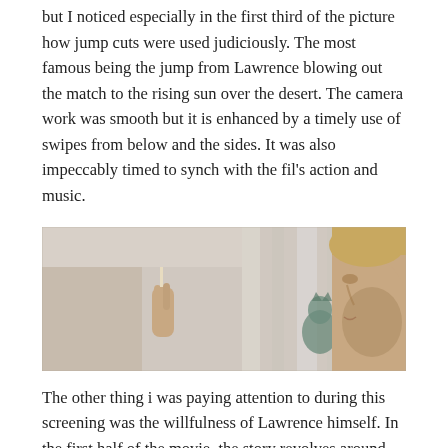but I noticed especially in the first third of the picture how jump cuts were used judiciously. The most famous being the jump from Lawrence blowing out the match to the rising sun over the desert. The camera work was smooth but it is enhanced by a timely use of swipes from below and the sides. It was also impeccably timed to synch with the fil's action and music.
[Figure (photo): A young man in profile view holding a lit match up close, looking at the flame. In the background, a blurred teal/green cat figurine is visible. The scene appears to be from the movie Lawrence of Arabia.]
The other thing i was paying attention to during this screening was the willfulness of Lawrence himself. In the first half of the movie, the story revolves around